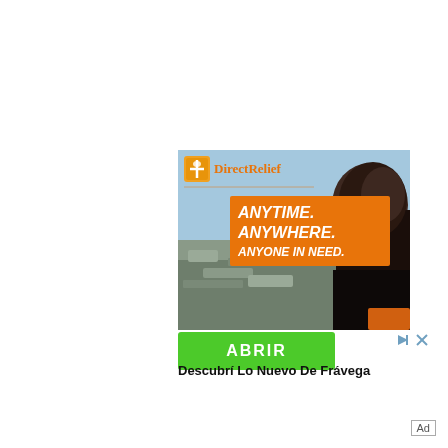[Figure (illustration): Direct Relief advertisement banner showing a person viewing disaster debris, with orange banner text reading ANYTIME. ANYWHERE. ANYONE IN NEED. Logo in top left with orange icon and text DirectRelief.]
ABRIR
Descubrí Lo Nuevo De Frávega
Ad